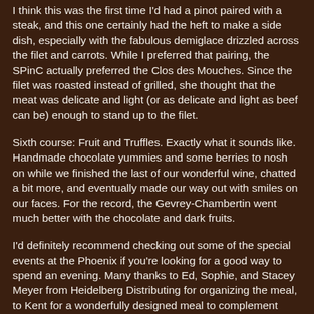I think this was the first time I'd had a pinot paired with a steak, and this one certainly had the heft to make a side dish, especially with the fabulous demiglace drizzled across the filet and carrots. While I preferred that pairing, the SPinC actually preferred the Clos des Mouches. Since the filet was roasted instead of grilled, she thought that the meat was delicate and light (or as delicate and light as beef can be) enough to stand up to the filet.
Sixth course: Fruit and Truffles. Exactly what it sounds like. Handmade chocolate yummies and some berries to nosh on while we finished the last of our wonderful wine, chatted a bit more, and eventually made our way out with smiles on our faces. For the record, the Gevrey-Chambertin went much better with the chocolate and dark fruits.
I'd definitely recommend checking out some of the special events at the Phoenix if you're looking for a good way to spend an evening. Many thanks to Ed, Sophie, and Stacey Meyer from Heidelberg Distributing for organizing the meal, to Kent for a wonderfully designed meal to complement these wonderful wines, and to the winemakers at Chanson for a dining of distinction.